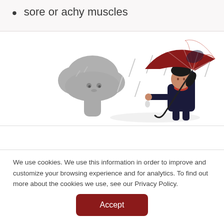sore or achy muscles
[Figure (illustration): Illustration of a woman holding a large red umbrella in the rain, with a grey storm cloud to the left with a face, rain drops falling around her. She is dressed in dark clothing with a red scarf.]
We use cookies. We use this information in order to improve and customize your browsing experience and for analytics. To find out more about the cookies we use, see our Privacy Policy.
Accept